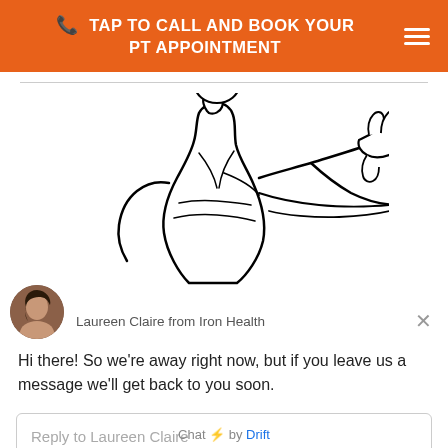TAP TO CALL AND BOOK YOUR PT APPOINTMENT
[Figure (illustration): Line drawing illustration of a muscular person from behind, reaching arms forward/pushing, showing back and shoulder muscles]
Laureen Claire from Iron Health
Hi there! So we're away right now, but if you leave us a message we'll get back to you soon.
Reply to Laureen Claire
Chat ⚡ by Drift